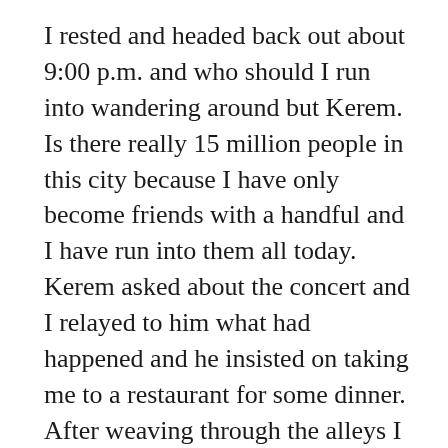I rested and headed back out about 9:00 p.m. and who should I run into wandering around but Kerem. Is there really 15 million people in this city because I have only become friends with a handful and I have run into them all today. Kerem asked about the concert and I relayed to him what had happened and he insisted on taking me to a restaurant for some dinner. After weaving through the alleys I found myself, minutes later, seated and ordering something equivalent to pizza (only much better). There was a football (soccer) game on the television and I learned that Turkey was playing Belgium in the Euro 2012 qualifier and what’s that … it’s being played at